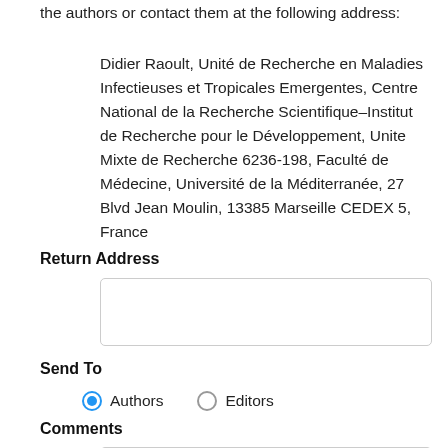the authors or contact them at the following address:
Didier Raoult, Unité de Recherche en Maladies Infectieuses et Tropicales Emergentes, Centre National de la Recherche Scientifique–Institut de Recherche pour le Développement, Unite Mixte de Recherche 6236-198, Faculté de Médecine, Université de la Méditerranée, 27 Blvd Jean Moulin, 13385 Marseille CEDEX 5, France
Return Address
Send To
Authors  Editors
Comments